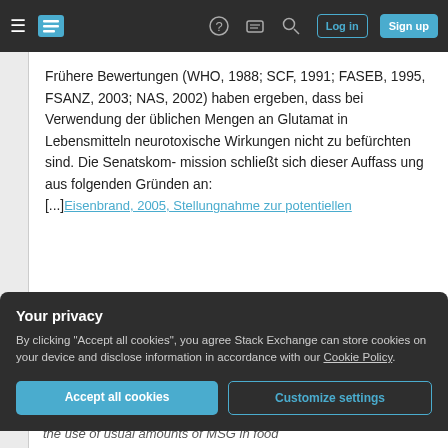Stack Exchange navigation bar with hamburger menu, logo, help, chat, search icons, Log in and Sign up buttons
Frühere Bewertungen (WHO, 1988; SCF, 1991; FASEB, 1995, FSANZ, 2003; NAS, 2002) haben ergeben, dass bei Verwendung der üblichen Mengen an Glutamat in Lebensmitteln neurotoxische Wirkungen nicht zu befürchten sind. Die Senatskom- mission schließt sich dieser Auffass ung aus folgenden Gründen an: [...] Eisenbrand, 2005, Stellungnahme zur potentiellen
Your privacy
By clicking "Accept all cookies", you agree Stack Exchange can store cookies on your device and disclose information in accordance with our Cookie Policy.
Accept all cookies   Customize settings
the use of usual amounts of MSG in food